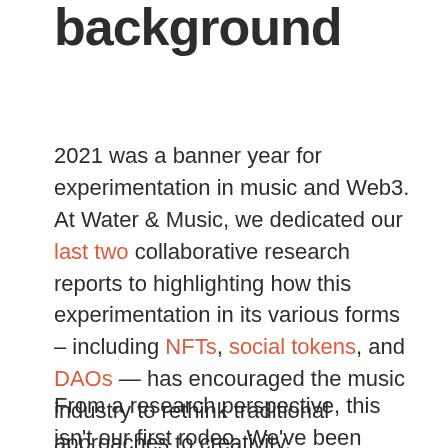background
2021 was a banner year for experimentation in music and Web3. At Water & Music, we dedicated our last two collaborative research reports to highlighting how this experimentation in its various forms – including NFTs, social tokens, and DAOs — has encouraged the music industry to rethink traditional approaches to creativity, monetization, and fan engagement.
From a research perspective, this isn't our first rodeo. We've been tracking music NFT